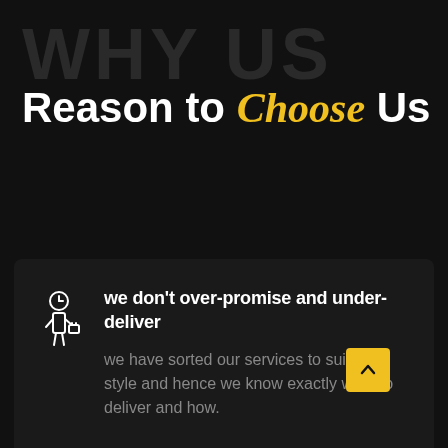WHY US
Reason to Choose Us
we don't over-promise and under-deliver
we have sorted our services to suit any style and hence we know exactly what to deliver and how.